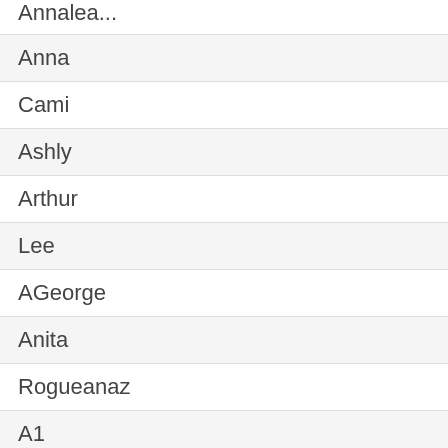Annalea
Anna
Cami
Ashly
Arthur
Lee
AGeorge
Anita
Rogueanaz
A1
Alexa